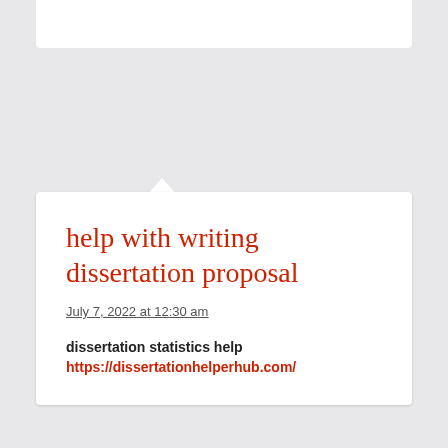help with writing dissertation proposal
July 7, 2022 at 12:30 am
dissertation statistics help
https://dissertationhelperhub.com/